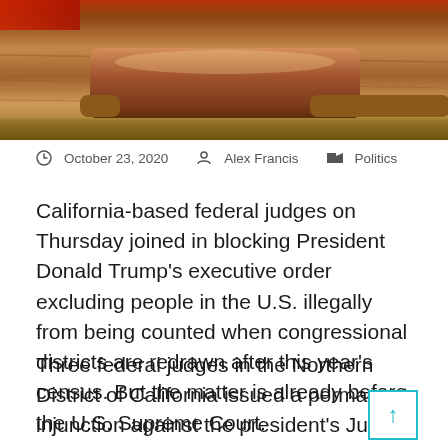[Figure (photo): Close-up photograph of a wooden judge's gavel on a wooden surface, warm brown tones with a red accent in the upper left corner.]
October 23, 2020   Alex Francis   Politics
California-based federal judges on Thursday joined in blocking President Donald Trump's executive order excluding people in the U.S. illegally from being counted when congressional districts are redrawn after this year's census. But the matter is already before the U.S. Supreme Court.
Three federal judges in the Northern District of California issued a permanent injunction against the president's July order, saying it violates the U.S. Constitution, the federal Census Act and the